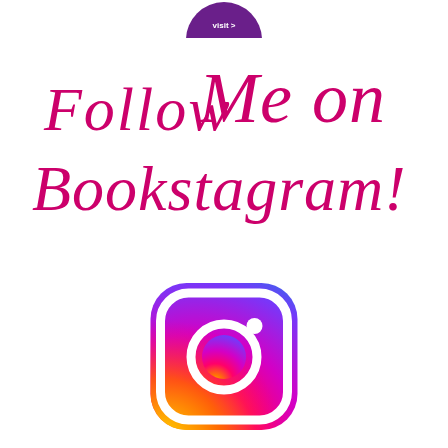[Figure (logo): Purple circular logo at top, partially cropped]
[Figure (illustration): Handwritten-style cursive text in magenta/pink reading 'Follow Me on Bookstagram!']
[Figure (logo): Instagram logo icon with gradient from purple/blue at top to orange/yellow at bottom, rounded square with camera outline]